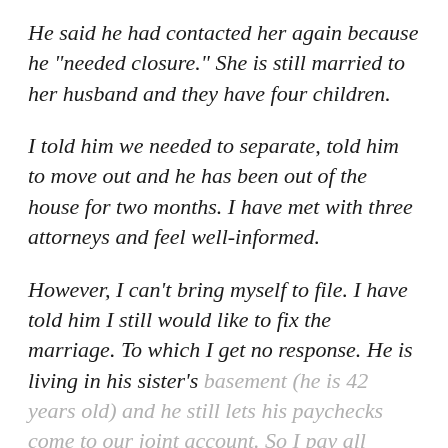He said he had contacted her again because he "needed closure." She is still married to her husband and they have four children.

I told him we needed to separate, told him to move out and he has been out of the house for two months. I have met with three attorneys and feel well-informed.

However, I can't bring myself to file. I have told him I still would like to fix the marriage. To which I get no response. He is living in his sister's basement (he is 42 years old) and he still lets his paychecks come to our joint account. So I pay all